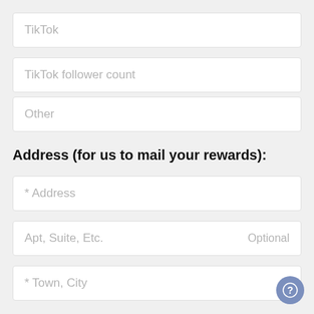TikTok
TikTok follower count
Other
Address (for us to mail your rewards):
* Address
Apt, Suite, Etc.    Optional
* Town, City